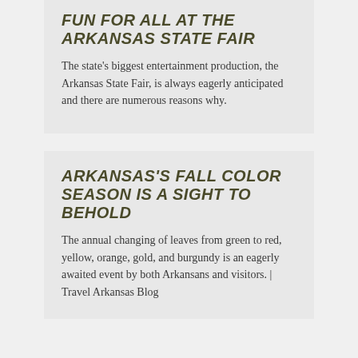Fun for All at the Arkansas State Fair
The state's biggest entertainment production, the Arkansas State Fair, is always eagerly anticipated and there are numerous reasons why.
Arkansas's Fall Color Season is a Sight to Behold
The annual changing of leaves from green to red, yellow, orange, gold, and burgundy is an eagerly awaited event by both Arkansans and visitors. | Travel Arkansas Blog